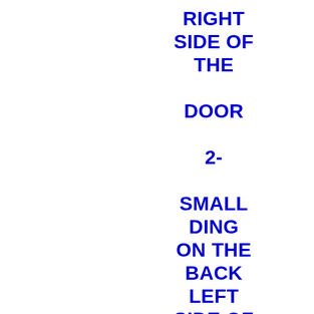RIGHT SIDE OF THE DOOR 2- SMALL DING ON THE BACK LEFT SIDE OF THE UNIT